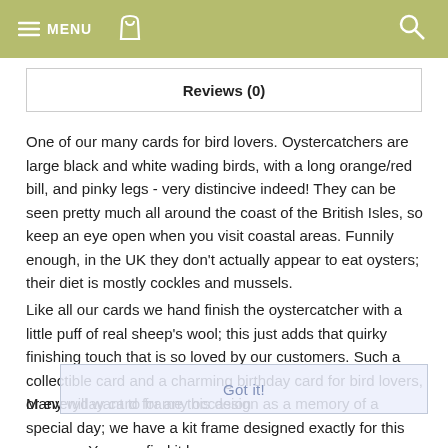MENU
Reviews (0)
One of our many cards for bird lovers. Oystercatchers are large black and white wading birds, with a long orange/red bill, and pinky legs - very distincive indeed! They can be seen pretty much all around the coast of the British Isles, so keep an eye open when you visit coastal areas. Funnily enough, in the UK they don't actually appear to eat oysters; their diet is mostly cockles and mussels.
Like all our cards we hand finish the oystercatcher with a little puff of real sheep's wool; this just adds that quirky finishing touch that is so loved by our customers. Such a collectible card and a charming birthday card for bird lovers, or everyday card for any occasion
Many will want to frame this design as a memory of a special day; we have a kit frame designed exactly for this purpose. You can find it here